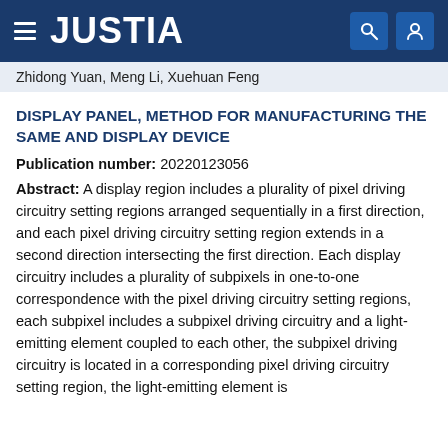JUSTIA
Zhidong Yuan, Meng Li, Xuehuan Feng
DISPLAY PANEL, METHOD FOR MANUFACTURING THE SAME AND DISPLAY DEVICE
Publication number: 20220123056
Abstract: A display region includes a plurality of pixel driving circuitry setting regions arranged sequentially in a first direction, and each pixel driving circuitry setting region extends in a second direction intersecting the first direction. Each display circuitry includes a plurality of subpixels in one-to-one correspondence with the pixel driving circuitry setting regions, each subpixel includes a subpixel driving circuitry and a light-emitting element coupled to each other, the subpixel driving circuitry is located in a corresponding pixel driving circuitry setting region, the light-emitting element is located outside of the pixel driving circuitry setting region.